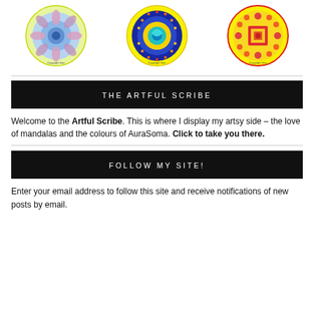[Figure (illustration): Three circular mandala illustrations side by side at the top of the page. Left mandala has blue and pink flower pattern. Center mandala has blue/teal dolphin motif with red/yellow border. Right mandala has red/orange/yellow design with squares.]
THE ARTFUL SCRIBE
Welcome to the Artful Scribe. This is where I display my artsy side – the love of mandalas and the colours of AuraSoma. Click to take you there.
FOLLOW MY SITE!
Enter your email address to follow this site and receive notifications of new posts by email.